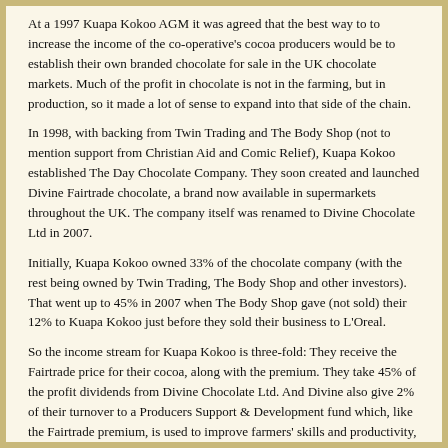At a 1997 Kuapa Kokoo AGM it was agreed that the best way to to increase the income of the co-operative's cocoa producers would be to establish their own branded chocolate for sale in the UK chocolate markets. Much of the profit in chocolate is not in the farming, but in production, so it made a lot of sense to expand into that side of the chain.
In 1998, with backing from Twin Trading and The Body Shop (not to mention support from Christian Aid and Comic Relief), Kuapa Kokoo established The Day Chocolate Company. They soon created and launched Divine Fairtrade chocolate, a brand now available in supermarkets throughout the UK. The company itself was renamed to Divine Chocolate Ltd in 2007.
Initially, Kuapa Kokoo owned 33% of the chocolate company (with the rest being owned by Twin Trading, The Body Shop and other investors). That went up to 45% in 2007 when The Body Shop gave (not sold) their 12% to Kuapa Kokoo just before they sold their business to L'Oreal.
So the income stream for Kuapa Kokoo is three-fold: They receive the Fairtrade price for their cocoa, along with the premium. They take 45% of the profit dividends from Divine Chocolate Ltd. And Divine also give 2% of their turnover to a Producers Support & Development fund which, like the Fairtrade premium, is used to improve farmers' skills and productivity, increase efficiency within the co-operative, help finance the running of the co-operative (and the democratic process).